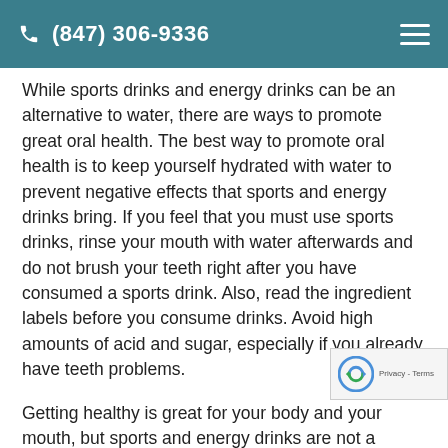(847) 306-9336
While sports drinks and energy drinks can be an alternative to water, there are ways to promote great oral health. The best way to promote oral health is to keep yourself hydrated with water to prevent negative effects that sports and energy drinks bring. If you feel that you must use sports drinks, rinse your mouth with water afterwards and do not brush your teeth right after you have consumed a sports drink. Also, read the ingredient labels before you consume drinks. Avoid high amounts of acid and sugar, especially if you already have teeth problems.
Getting healthy is great for your body and your mouth, but sports and energy drinks are not a necessary part of well-being. There are many alternatives, it's just a matter of finding what works best for you. One must maintain oral health to make